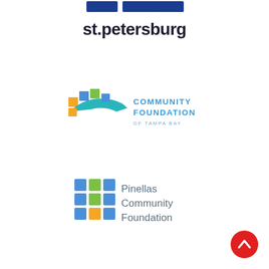[Figure (logo): City of St. Petersburg logo with blue flag/banner shapes above and bold dark text 'st.petersburg' below]
[Figure (logo): Community Foundation of Tampa Bay logo with colorful mosaic ribbon graphic and teal/blue text reading 'COMMUNITY FOUNDATION OF TAMPA BAY']
[Figure (logo): Pinellas Community Foundation logo with a grid of colored squares (blue, green, orange) and gray/blue text reading 'Pinellas Community Foundation']
[Figure (illustration): Red circular scroll-to-top button with white chevron/caret arrow pointing upward, positioned bottom-right corner]